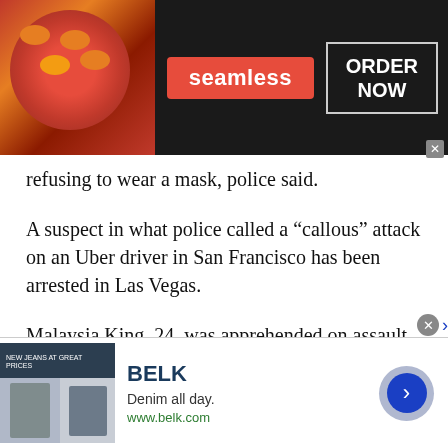[Figure (screenshot): Seamless food delivery advertisement banner with pizza image on left, Seamless red logo in center, and ORDER NOW button on right with dark background]
refusing to wear a mask, police said.
A suspect in what police called a “callous” attack on an Uber driver in San Francisco has been arrested in Las Vegas.
Malaysia King, 24, was apprehended on assault charges by Las Vegas police on Thursday. A fellow passenger, Arna Kimiai, 24, said through her lawyer that she would turn herself in, according
[Figure (screenshot): Belk clothing advertisement banner showing fashion models, BELK brand name, 'Denim all day.' tagline, www.belk.com URL, and a blue arrow button on right]